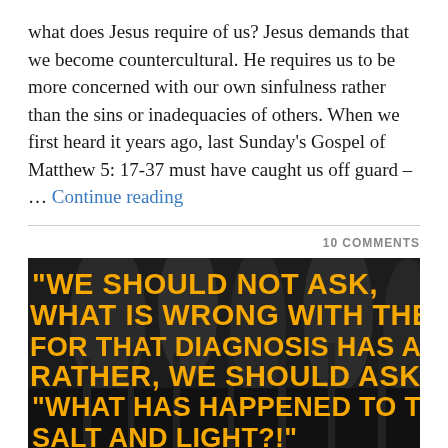what does Jesus require of us? Jesus demands that we become countercultural. He requires us to be more concerned with our own sinfulness rather than the sins or inadequacies of others. When we first heard it years ago, last Sunday's Gospel of Matthew 5: 17-37 must have caught us off guard – … Continue reading
10 COMMENTS
[Figure (photo): Dark background image of church architecture with large bold yellow/orange text overlay reading: "WE SHOULD NOT ASK, WHAT IS WRONG WITH THE WORLD, FOR THAT DIAGNOSIS HAS ALREADY BEEN GIVEN, RATHER, WE SHOULD ASK, "WHAT HAS HAPPENED TO THE SALT AND LIGHT?"]